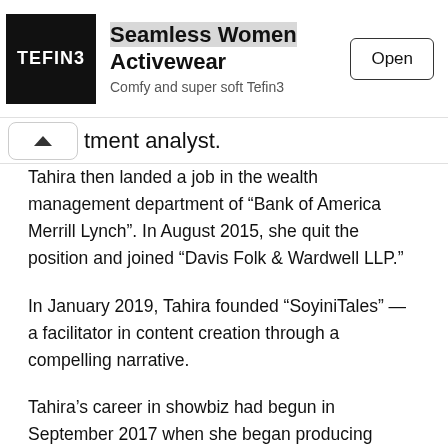[Figure (screenshot): Advertisement banner for Tefin3 Seamless Women Activewear app with logo, title, subtitle 'Comfy and super soft Tefin3', and Open button]
tment analyst.
Tahira then landed a job in the wealth management department of “Bank of America Merrill Lynch”. In August 2015, she quit the position and joined “Davis Folk & Wardwell LLP.”
In January 2019, Tahira founded “SoyiniTales” — a facilitator in content creation through a compelling narrative.
Tahira’s career in showbiz had begun in September 2017 when she began producing shows for networks like “CMT,” “MTV,” “CNBC” and “E!”